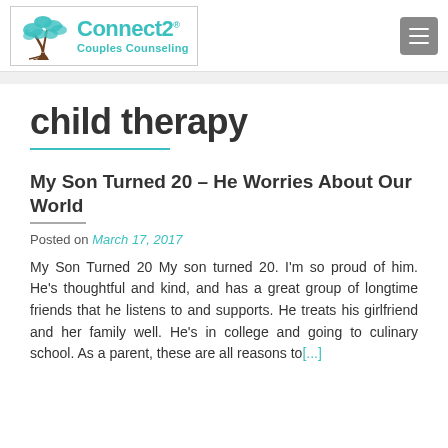Connect2 Couples Counseling
child therapy
My Son Turned 20 – He Worries About Our World
Posted on March 17, 2017
My Son Turned 20 My son turned 20. I'm so proud of him. He's thoughtful and kind, and has a great group of longtime friends that he listens to and supports. He treats his girlfriend and her family well. He's in college and going to culinary school. As a parent, these are all reasons to[...]